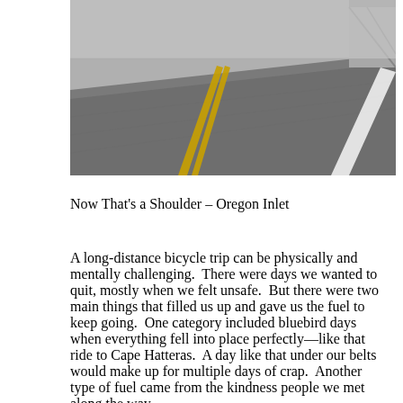[Figure (photo): A wide highway road seen from low angle, showing asphalt surface with a wide white shoulder line on the right and yellow center lines on the left. The road stretches toward the horizon with a gray sky and a structure visible in the upper right corner.]
Now That's a Shoulder – Oregon Inlet
A long-distance bicycle trip can be physically and mentally challenging.  There were days we wanted to quit, mostly when we felt unsafe.  But there were two main things that filled us up and gave us the fuel to keep going.  One category included bluebird days when everything fell into place perfectly—like that ride to Cape Hatteras.  A day like that under our belts would make up for multiple days of crap.  Another type of fuel came from the kindness people we met along the way. Every act of kindness, no matter how big or small,